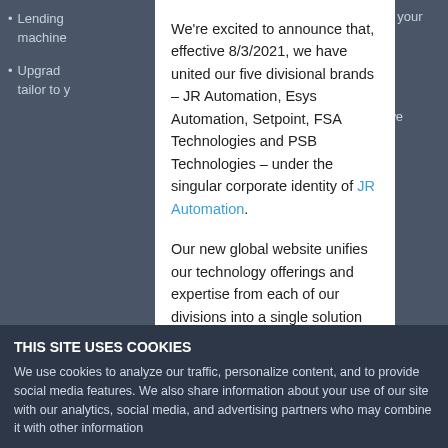Lending … of your machine
Upgrad… that we tailor to y…
MED
Using f… our solution… use syringe…
We're excited to announce that, effective 8/3/2021, we have united our five divisional brands – JR Automation, Esys Automation, Setpoint, FSA Technologies and PSB Technologies – under the singular corporate identity of JR Automation.
Our new global website unifies our technology offerings and expertise from each of our divisions into a single solution for customers, partners, and job seekers to learn more about who we are and what we do.
THIS SITE USES COOKIES
We use cookies to analyze our traffic, personalize content, and to provide social media features. We also share information about your use of our site with our analytics, social media, and advertising partners who may combine it with other information